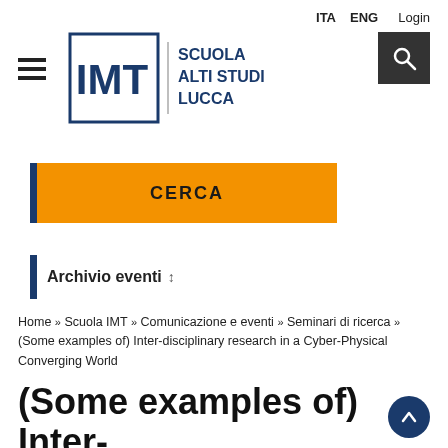ITA  ENG  Login
[Figure (logo): IMT Scuola Alti Studi Lucca logo with stylized IMT letters and institution name]
[Figure (other): Hamburger menu icon (three horizontal bars)]
[Figure (other): Search icon (magnifying glass) on dark background]
CERCA
Archivio eventi ⇅
Home » Scuola IMT » Comunicazione e eventi » Seminari di ricerca » (Some examples of) Inter-disciplinary research in a Cyber-Physical Converging World
(Some examples of) Inter-disciplinary research in a Cyber-Physical Converging World